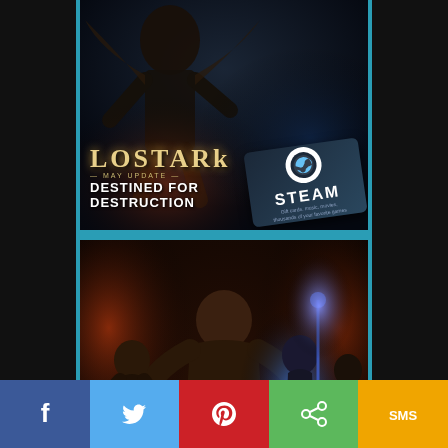[Figure (illustration): Lost Ark game promotional banner showing characters and a Steam gift card. Text reads 'LOSTARK', 'MAY UPDATE', 'DESTINED FOR DESTRUCTION' alongside a Steam card logo.]
[Figure (illustration): Diablo game promotional banner showing fantasy RPG characters (warriors, mage, ranger) in a dark dungeon setting with an iTunes gift card overlay. Text reads 'DIABLO' at the bottom.]
[Figure (infographic): Social sharing bar at the bottom with five buttons: Facebook (blue, f icon), Twitter (light blue, bird icon), Pinterest (red, P icon), Share (green, share icon), SMS (yellow/orange, SMS text)]